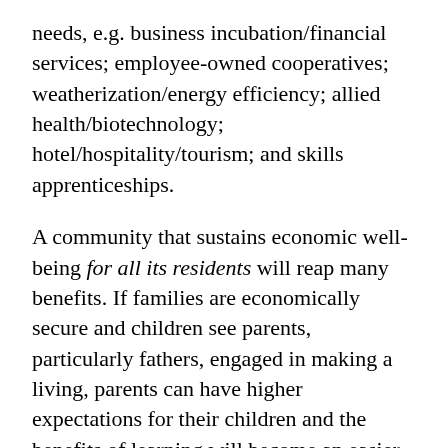needs, e.g. business incubation/financial services; employee-owned cooperatives; weatherization/energy efficiency; allied health/biotechnology; hotel/hospitality/tourism; and skills apprenticeships.
A community that sustains economic well-being for all its residents will reap many benefits. If families are economically secure and children see parents, particularly fathers, engaged in making a living, parents can have higher expectations for their children and the benefits of learning will become an easier sell. Whenever people have livable wage jobs and